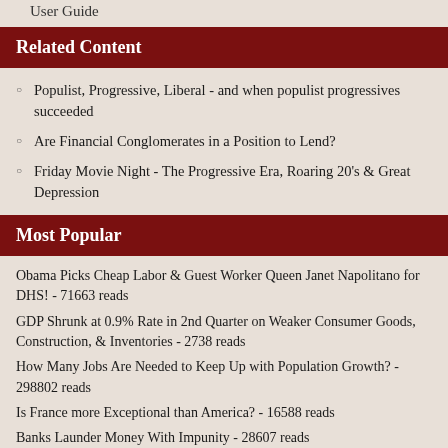User Guide
Related Content
Populist, Progressive, Liberal - and when populist progressives succeeded
Are Financial Conglomerates in a Position to Lend?
Friday Movie Night - The Progressive Era, Roaring 20's & Great Depression
Most Popular
Obama Picks Cheap Labor & Guest Worker Queen Janet Napolitano for DHS! - 71663 reads
GDP Shrunk at 0.9% Rate in 2nd Quarter on Weaker Consumer Goods, Construction, & Inventories - 2738 reads
How Many Jobs Are Needed to Keep Up with Population Growth? - 298802 reads
Is France more Exceptional than America? - 16588 reads
Banks Launder Money With Impunity - 28607 reads
New York Post Claims Census Falsifies Unemployment Figures